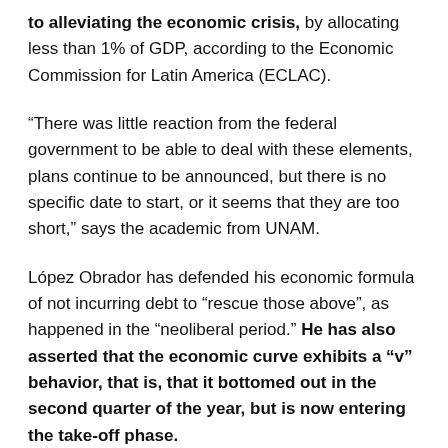to alleviating the economic crisis, by allocating less than 1% of GDP, according to the Economic Commission for Latin America (ECLAC).
“There was little reaction from the federal government to be able to deal with these elements, plans continue to be announced, but there is no specific date to start, or it seems that they are too short,” says the academic from UNAM.
López Obrador has defended his economic formula of not incurring debt to “rescue those above”, as happened in the “neoliberal period.” He has also asserted that the economic curve exhibits a “v” behavior, that is, that it bottomed out in the second quarter of the year, but is now entering the take-off phase.
“Action in health has to be balanced, that is, facing the pandemic as it has been done and also reactivating our